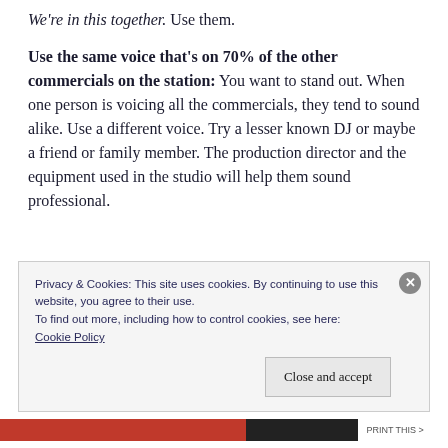We're in this together. Use them.
Use the same voice that's on 70% of the other commercials on the station: You want to stand out. When one person is voicing all the commercials, they tend to sound alike. Use a different voice. Try a lesser known DJ or maybe a friend or family member. The production director and the equipment used in the studio will help them sound professional.
Privacy & Cookies: This site uses cookies. By continuing to use this website, you agree to their use.
To find out more, including how to control cookies, see here:
Cookie Policy
Close and accept